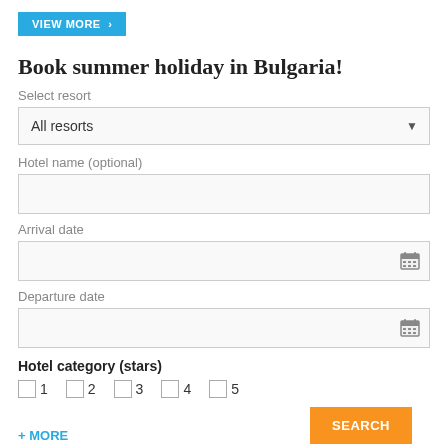VIEW MORE >
Book summer holiday in Bulgaria!
Select resort
All resorts
Hotel name (optional)
Arrival date
Departure date
Hotel category (stars)
1
2
3
4
5
+ MORE
SEARCH